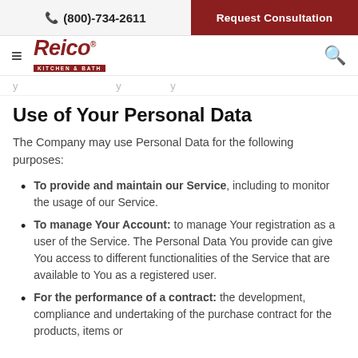(800)-734-2611 | Request Consultation
[Figure (logo): Reico Kitchen & Bath logo with hamburger menu and search icon]
...y...y...y...
Use of Your Personal Data
The Company may use Personal Data for the following purposes:
To provide and maintain our Service, including to monitor the usage of our Service.
To manage Your Account: to manage Your registration as a user of the Service. The Personal Data You provide can give You access to different functionalities of the Service that are available to You as a registered user.
For the performance of a contract: the development, compliance and undertaking of the purchase contract for the products, items or